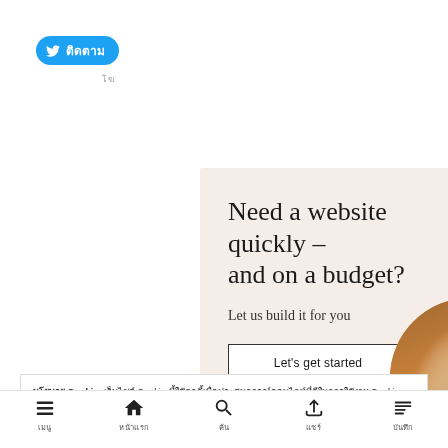[Figure (screenshot): Twitter Follow button with bird logo and Thai text label]
[Figure (illustration): Advertisement banner with beige background. Headline: 'Need a website quickly – and on a budget?' Subheading: 'Let us build it for you'. CTA button: 'Let's get started'. Circular photo of person's hands on laptop.]
นโยบาย Cookie: เว็บไซต์ Cookie นี้ใช้คุกกี้เพื่อประสบการณ์ออนไลน์ที่ดีในการใช้งาน Cookie โปรดดูข้อมูลเพิ่มเติมที่นโยบายความเป็นส่วนตัว Cookie นโยบาย
ยอมรับ
เมนู  หน้าแรก  ค้น  แชร์  บันทึก